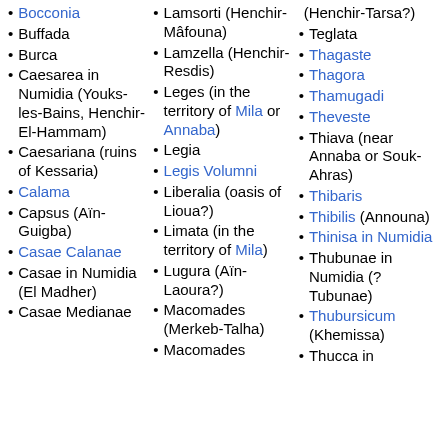Bocconia
Buffada
Burca
Caesarea in Numidia (Youks-les-Bains, Henchir-El-Hammam)
Caesariana (ruins of Kessaria)
Calama
Capsus (Aïn-Guigba)
Casae Calanae
Casae in Numidia (El Madher)
Casae Medianae
Lamsorti (Henchir-Mâfouna)
Lamzella (Henchir-Resdis)
Leges (in the territory of Mila or Annaba)
Legia
Legis Volumni
Liberalia (oasis of Lioua?)
Limata (in the territory of Mila)
Lugura (Aïn-Laoura?)
Macomades (Merkeb-Talha)
Macomades
(Henchir-Tarsa?)
Teglata
Thagaste
Thagora
Thamugadi
Theveste
Thiava (near Annaba or Souk-Ahras)
Thibaris
Thibilis (Announa)
Thinisa in Numidia
Thubunae in Numidia (? Tubunae)
Thubursicum (Khemissa)
Thucca in